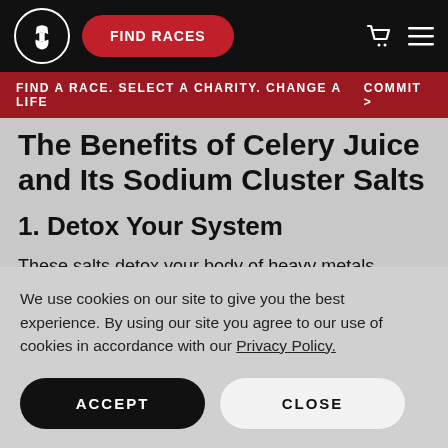FIND RACES
FIND A RACE. SELECT A CHARITY. CHANGE A LIFE   COMMIT >
The Benefits of Celery Juice and Its Sodium Cluster Salts
1. Detox Your System
These salts detox your body of heavy metals, viruses, and
We use cookies on our site to give you the best experience. By using our site you agree to our use of cookies in accordance with our Privacy Policy.
ACCEPT
CLOSE